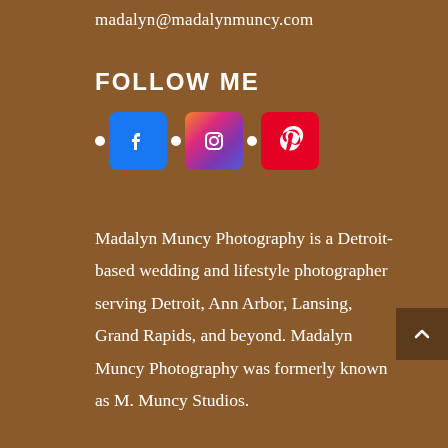madalyn@madalynmuncy.com
FOLLOW ME
[Figure (illustration): Social media icons for Facebook, Instagram, and Pinterest with bullet separators]
Madalyn Muncy Photography is a Detroit-based wedding and lifestyle photographer serving Detroit, Ann Arbor, Lansing, Grand Rapids, and beyond. Madalyn Muncy Photography was formerly known as M. Muncy Studios.